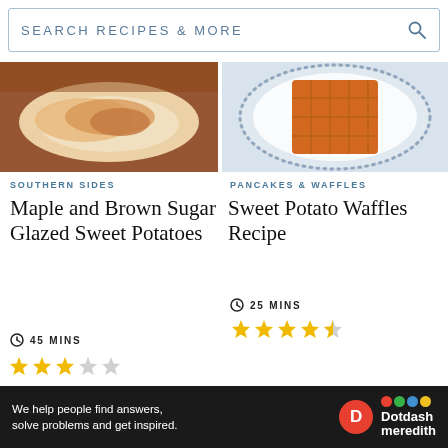[Figure (screenshot): Search bar with text 'SEARCH RECIPES & MORE' and magnifying glass icon]
[Figure (photo): Photo of maple and brown sugar glazed sweet potatoes on a plate]
[Figure (photo): Photo of sweet potato waffles on a decorative blue plate]
SOUTHERN SIDES
PANCAKES & WAFFLES
Maple and Brown Sugar Glazed Sweet Potatoes
Sweet Potato Waffles Recipe
45 MINS
25 MINS
[Figure (other): 3 filled stars and 1 empty star rating for Maple and Brown Sugar Glazed Sweet Potatoes]
[Figure (other): 4.5 stars rating for Sweet Potato Waffles Recipe]
[Figure (photo): Photo of a yellow/orange food dish in a white bowl]
[Figure (photo): Photo of rice or grain dish in a dark bowl with spoons]
Ad
We help people find answers, solve problems and get inspired.
[Figure (logo): Dotdash Meredith logo with red D circle and colorful dots]